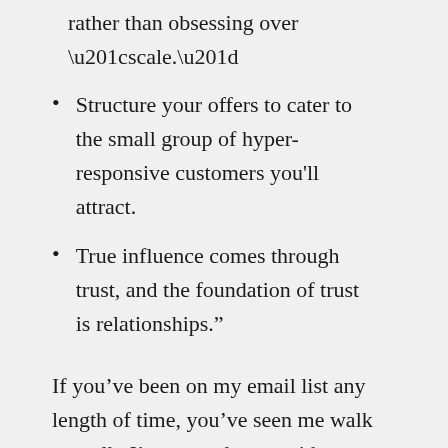rather than obsessing over “scale.”
Structure your offers to cater to the small group of hyper-responsive customers you’ll attract.
True influence comes through trust, and the foundation of trust is relationships.”
If you’ve been on my email list any length of time, you’ve seen me walk my talk. I’ve gone deeper with you